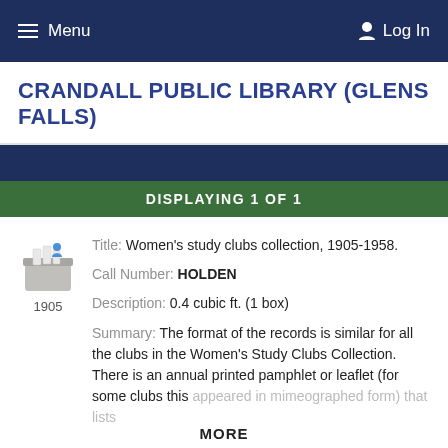Menu   Log In
CRANDALL PUBLIC LIBRARY (GLENS FALLS)
DISPLAYING 1 OF 1
[Figure (illustration): Archive box icon with documents and a blue figure on top, with year '1905' below]
Title: Women's study clubs collection, 1905-1958.
Call Number: HOLDEN
Description: 0.4 cubic ft. (1 box)
Summary: The format of the records is similar for all the clubs in the Women's Study Clubs Collection. There is an annual printed pamphlet or leaflet (for some clubs this appeared in mimeographed form) that lists
MORE